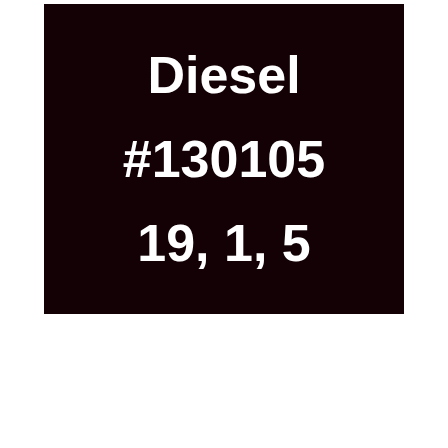[Figure (other): Color swatch showing a very dark brownish-black color (#130105) with the color name 'Diesel', hex code '#130105', and RGB values '19, 1, 5' displayed in white bold text on the dark background.]
Diesel
#130105
19, 1, 5